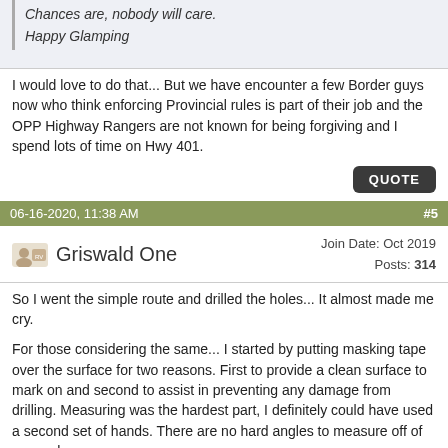Chances are, nobody will care.

Happy Glamping
I would love to do that... But we have encounter a few Border guys now who think enforcing Provincial rules is part of their job and the OPP Highway Rangers are not known for being forgiving and I spend lots of time on Hwy 401.
QUOTE
06-16-2020, 11:38 AM  #5
Griswald One  Join Date: Oct 2019  Posts: 314
So I went the simple route and drilled the holes... It almost made me cry.

For those considering the same... I started by putting masking tape over the surface for two reasons. First to provide a clean surface to mark on and second to assist in preventing any damage from drilling. Measuring was the hardest part, I definitely could have used a second set of hands. There are no hard angles to measure off of so you have